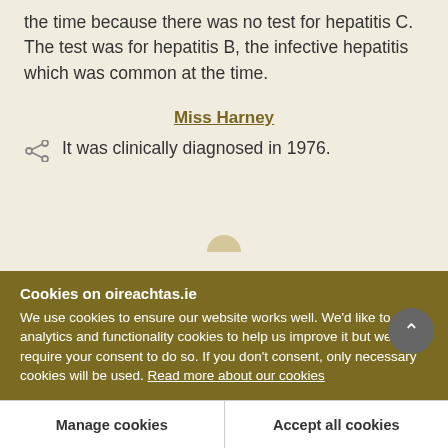the time because there was no test for hepatitis C. The test was for hepatitis B, the infective hepatitis which was common at the time.
Miss Harney
It was clinically diagnosed in 1976.
Cookies on oireachtas.ie
We use cookies to ensure our website works well. We'd like to use analytics and functionality cookies to help us improve it but we require your consent to do so. If you don't consent, only necessary cookies will be used. Read more about our cookies
Manage cookies
Accept all cookies